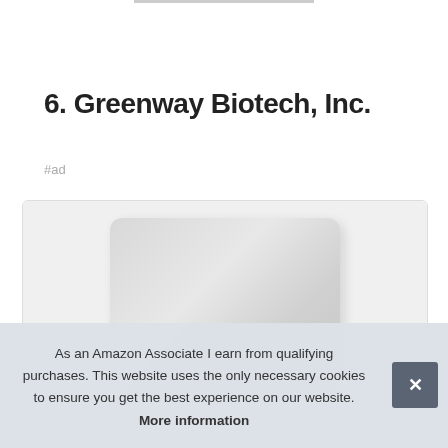6. Greenway Biotech, Inc.
#ad
[Figure (photo): Product photo of a Greenway Biotech bag inside a bordered card]
As an Amazon Associate I earn from qualifying purchases. This website uses the only necessary cookies to ensure you get the best experience on our website. More information